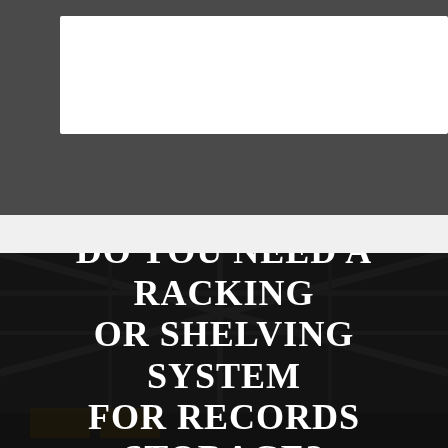[Figure (other): White input/form box on dark grey background]
Consult Our Experts
[Figure (photo): Dark warehouse interior with racking structures visible in background, overlaid with large white serif text]
DO YOU NEED A RACKING OR SHELVING SYSTEM FOR RECORDS STORAGE?